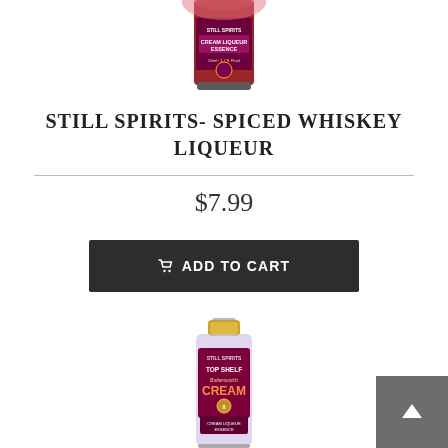[Figure (photo): Partial view of a Still Spirits product bottle (Cream Liqueur Essence), cropped at the top of the page, showing the bottom portion of the bottle with a dark red/burgundy label.]
STILL SPIRITS- SPICED WHISKEY LIQUEUR
$7.99
ADD TO CART
[Figure (photo): Still Spirits Top Shelf Butterscotch Cream Liqueur Essence bottle with gold cap, purple/wine colored label. Shows 'STILL SPIRITS', 'TOP SHELF', 'Butterscotch CREAM', 'CREAM LIQUEUR ESSENCE' text on label.]